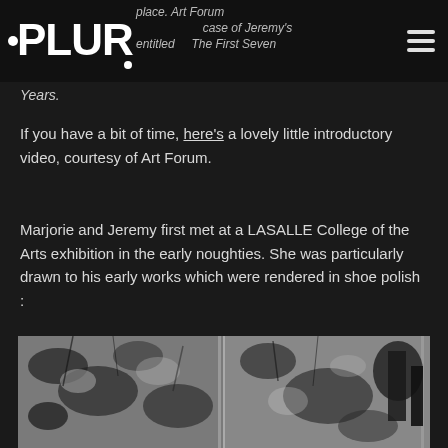PLURAL [logo] … place. Art Forum … case of Jeremy's … entitled … The First Seven Years.
If you have a bit of time, here's a lovely little introductory video, courtesy of Art Forum.
Marjorie and Jeremy first met at a LASALLE College of the Arts exhibition in the early noughties. She was particularly drawn to his early works which were rendered in shoe polish :
[Figure (photo): Black and white abstract artwork rendered in shoe polish, showing textured, scratchy marks and dark tonal areas with what appears to be a diptych or triptych format.]